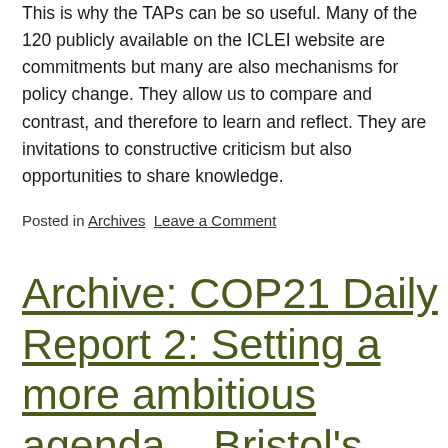This is why the TAPs can be so useful. Many of the 120 publicly available on the ICLEI website are commitments but many are also mechanisms for policy change. They allow us to compare and contrast, and therefore to learn and reflect. They are invitations to constructive criticism but also opportunities to share knowledge.
Posted in Archives Leave a Comment
Archive: COP21 Daily Report 2: Setting a more ambitious agenda – Bristol's